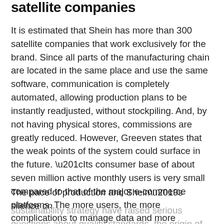satellite companies
It is estimated that Shein has more than 300 satellite companies that work exclusively for the brand. Since all parts of the manufacturing chain are located in the same place and use the same software, communication is completely automated, allowing production plans to be instantly readjusted, without stockpiling. And, by not having physical stores, commissions are greatly reduced. However, Greeven states that the weak points of the system could surface in the future. “Its consumer base of about seven million active monthly users is very small compared to that of the major e-commerce platforms. The more users, the more complications to manage data and more logistical pressure”, he says.
The pace of production and Shein’s silence on
sustainability strategy have raised serious questions about quality standards, the origin of raw materials and the